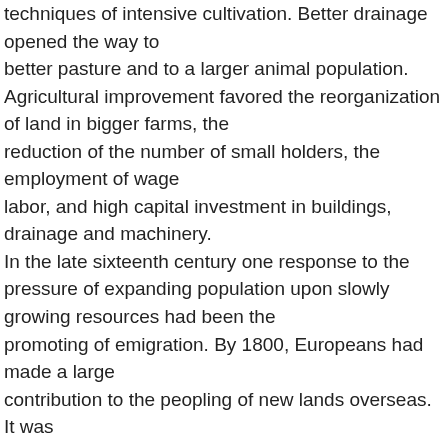techniques of intensive cultivation. Better drainage opened the way to better pasture and to a larger animal population. Agricultural improvement favored the reorganization of land in bigger farms, the reduction of the number of small holders, the employment of wage labor, and high capital investment in buildings, drainage and machinery. In the late sixteenth century one response to the pressure of expanding population upon slowly growing resources had been the promoting of emigration. By 1800, Europeans had made a large contribution to the peopling of new lands overseas. It was